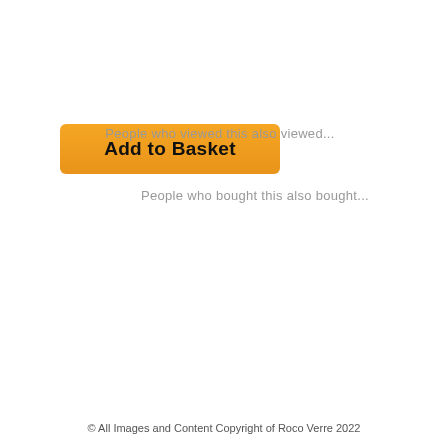[Figure (other): Orange 'Add to Basket' button with rounded corners and gradient background]
People who viewed this also viewed...
People who bought this also bought...
[Figure (other): Follow Us button with plus sign icon and rectangular border]
© All Images and Content Copyright of Roco Verre 2022